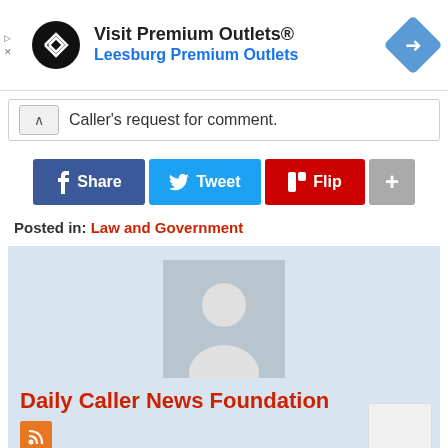[Figure (screenshot): Advertisement banner for Premium Outlets with logo, text 'Visit Premium Outlets® Leesburg Premium Outlets', and navigation arrow icon]
Caller's request for comment.
[Figure (infographic): Social share buttons: Share (Facebook), Tweet (Twitter), Flip (Flipboard), plus button]
Posted in: Law and Government
[Figure (photo): Author profile card with placeholder avatar, 'Daily Caller News Foundation' title in red, and RSS feed icon]